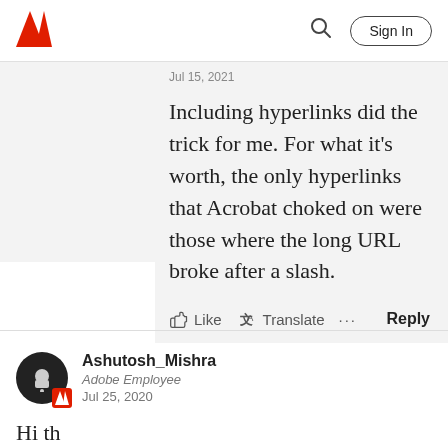Adobe — Sign In
Jul 15, 2021
Including hyperlinks did the trick for me. For what it's worth, the only hyperlinks that Acrobat choked on were those where the long URL broke after a slash.
Like  Translate  ...  Reply
Ashutosh_Mishra
Adobe Employee
Jul 25, 2020
Hi th...